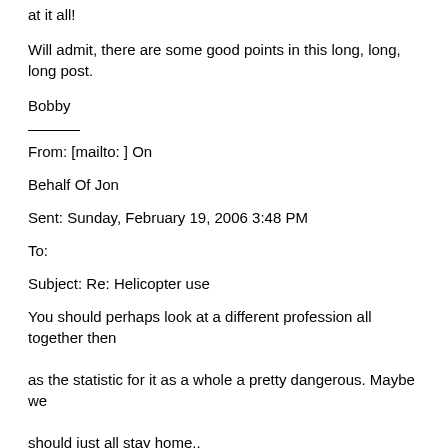at it all!
Will admit, there are some good points in this long, long, long post.
Bobby
From: [mailto: ] On
Behalf Of Jon
Sent: Sunday, February 19, 2006 3:48 PM
To:
Subject: Re: Helicopter use
You should perhaps look at a different profession all together then as the statistic for it as a whole a pretty dangerous. Maybe we should just all stay home..
Jon
> >>